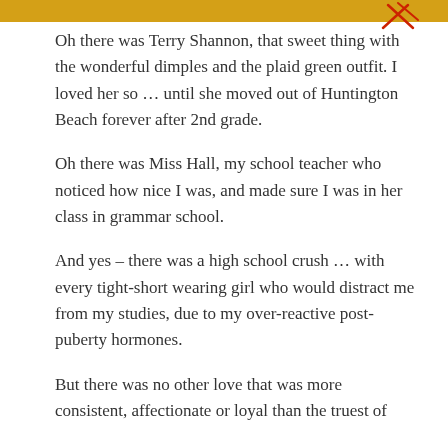[Figure (other): Golden/amber horizontal banner bar at top of page with a red handwritten mark or signature in the upper right corner]
Oh there was Terry Shannon, that sweet thing with the wonderful dimples and the plaid green outfit. I loved her so ... until she moved out of Huntington Beach forever after 2nd grade.
Oh there was Miss Hall, my school teacher who noticed how nice I was, and made sure I was in her class in grammar school.
And yes – there was a high school crush ... with every tight-short wearing girl who would distract me from my studies, due to my over-reactive post-puberty hormones.
But there was no other love that was more consistent, affectionate or loyal than the truest of